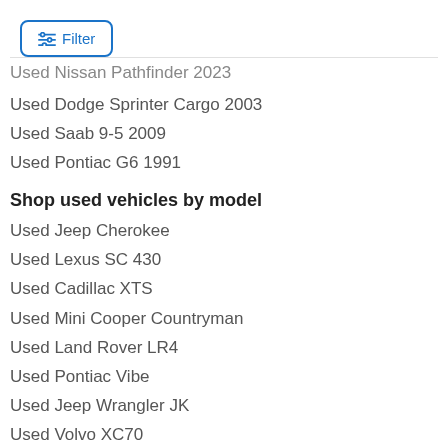[Figure (other): Filter button with sliders icon and blue border]
Used Nissan Pathfinder 2023
Used Dodge Sprinter Cargo 2003
Used Saab 9-5 2009
Used Pontiac G6 1991
Shop used vehicles by model
Used Jeep Cherokee
Used Lexus SC 430
Used Cadillac XTS
Used Mini Cooper Countryman
Used Land Rover LR4
Used Pontiac Vibe
Used Jeep Wrangler JK
Used Volvo XC70
Used BMW Z4
Used Subaru BRZ
Used Toyota Camry Hybrid